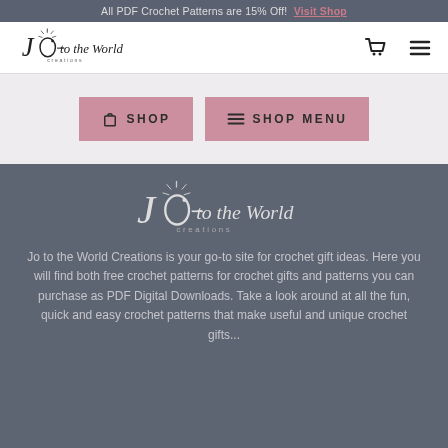All PDF Crochet Patterns are 15% Off! Visit Shop
[Figure (logo): Jo to the World Creations logo, black handwritten script on white background, with sunburst above the 'O']
[Figure (infographic): Navigation icons: shopping cart and hamburger menu]
[Figure (infographic): Two pink buttons: SHOP (with bag icon) and SHOP MENU (with lines icon)]
[Figure (logo): Jo to the World Creations logo in white/light on dark grey background]
Jo to the World Creations is your go-to site for crochet gift ideas. Here you will find both free crochet patterns for crochet gifts and patterns you can purchase as PDF Digital Downloads. Take a look around at all the fun, quick and easy crochet patterns that make useful and unique crochet gifts...